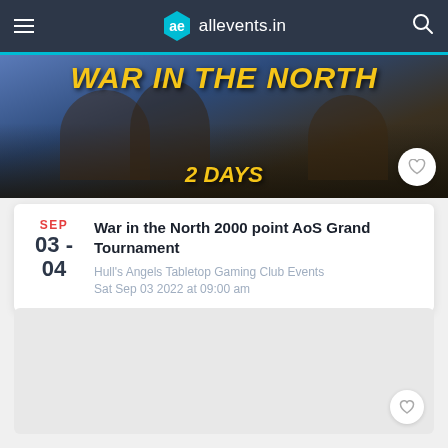allevents.in
[Figure (screenshot): Event banner image showing 'WAR IN THE NORTH' text in yellow over a dark fantasy battle scene background]
War in the North 2000 point AoS Grand Tournament
Hull's Angels Tabletop Gaming Club Events
Sat Sep 03 2022 at 09:00 am
[Figure (other): Gray placeholder/advertisement card area]